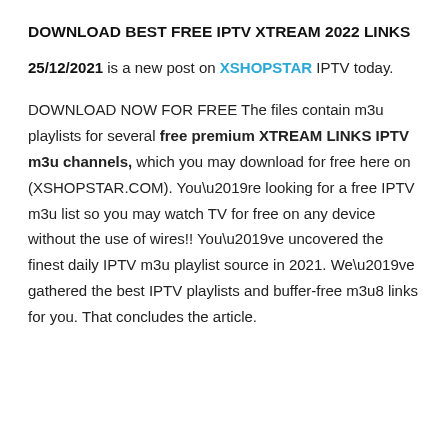DOWNLOAD BEST FREE IPTV XTREAM 2022 LINKS
25/12/2021 is a new post on XSHOPSTAR IPTV today.
DOWNLOAD NOW FOR FREE The files contain m3u playlists for several free premium XTREAM LINKS IPTV m3u channels, which you may download for free here on (XSHOPSTAR.COM). You’re looking for a free IPTV m3u list so you may watch TV for free on any device without the use of wires!! You’ve uncovered the finest daily IPTV m3u playlist source in 2021. We’ve gathered the best IPTV playlists and buffer-free m3u8 links for you. That concludes the article.